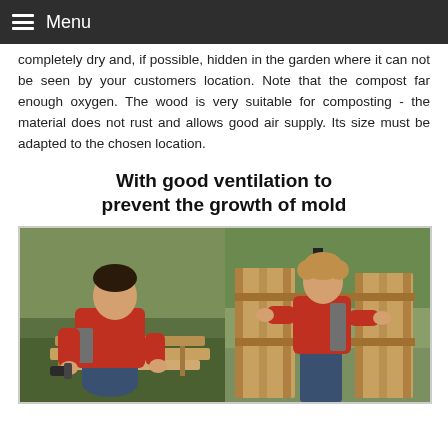Menu
completely dry and, if possible, hidden in the garden where it can not be seen by your customers location. Note that the compost far enough oxygen. The wood is very suitable for composting - the material does not rust and allows good air supply. Its size must be adapted to the chosen location.
With good ventilation to prevent the growth of mold
[Figure (photo): Two photos side by side of a boy in a red shirt building a wooden compost bin outdoors. Left photo: boy kneeling on grass using a drill on wooden slats. Right photo: boy standing assembling wooden frame panels in a garden.]